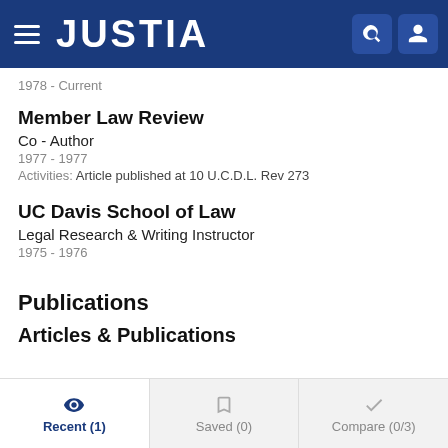JUSTIA
1978 - Current
Member Law Review
Co - Author
1977 - 1977
Activities: Article published at 10 U.C.D.L. Rev 273
UC Davis School of Law
Legal Research & Writing Instructor
1975 - 1976
Publications
Articles & Publications
Recent (1)  Saved (0)  Compare (0/3)